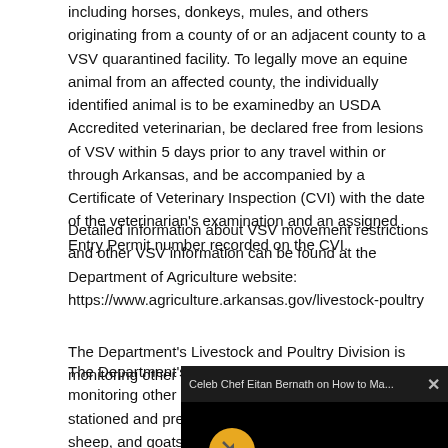including horses, donkeys, mules, and others originating from a county of or an adjacent county to a VSV quarantined facility. To legally move an equine animal from an affected county, the individually identified animal is to be examined by an USDA Accredited veterinarian, be declared free from lesions of VSV within 5 days prior to any travel within or through Arkansas, and be accompanied by a Certificate of Veterinary Inspection (CVI) with the date of the veterinarian's examination and an assigned Entry Permit number recorded on the CVI.
Detailed information about VSV movement restrictions and other VSV information can be found at the Department of Agriculture website:  https://www.agriculture.arkansas.gov/livestock-poultry
The Department's Livestock and Poultry Division is monitoring other potentially affected hooved s[...] stationed and present at all [...] sheep, and goats.  Livestock [...] held within the state's bound[...]
Since this outbreak was dete[...] on 267 premises in eight sta[...] 256 of the premises noted. O[...] single premise had both equ[...]
[Figure (screenshot): Video popup overlay showing 'Celeb Chef Eitan Bernath on How to Ma...' with a black background, mute button (orange circle with mute icon), loading spinner (teal arc), and a close X button in the header bar.]